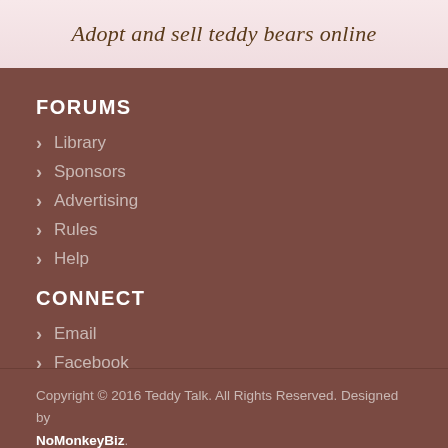[Figure (illustration): Banner with teddy bears and text 'Adopt and sell teddy bears online' on a pink/cream background]
FORUMS
Library
Sponsors
Advertising
Rules
Help
CONNECT
Email
Facebook
Copyright © 2016 Teddy Talk. All Rights Reserved. Designed by NoMonkeyBiz.